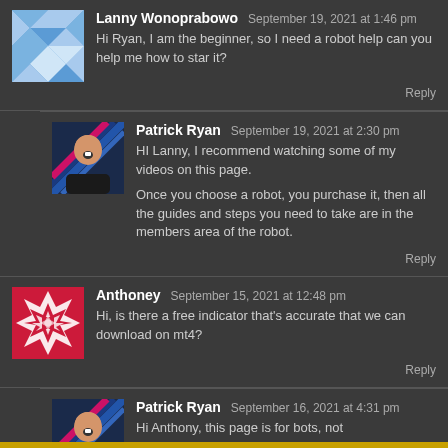Lanny Wonoprabowo — September 19, 2021 at 1:46 pm
Hi Ryan, I am the beginner, so I need a robot help can you help me how to star it?
Reply
Patrick Ryan — September 19, 2021 at 2:30 pm
HI Lanny, I recommend watching some of my videos on this page.
Once you choose a robot, you purchase it, then all the guides and steps you need to take are in the members area of the robot.
Reply
Anthoney — September 15, 2021 at 12:48 pm
Hi, is there a free indicator that's accurate that we can download on mt4?
Reply
Patrick Ryan — September 16, 2021 at 4:31 pm
Hi Anthony, this page is for bots, not
[Figure (illustration): Blue and white geometric/diamond pattern avatar for Lanny Wonoprabowo]
[Figure (photo): Patrick Ryan photo - man smiling against blue diagonal background]
[Figure (illustration): Red and white geometric/star pattern avatar for Anthoney]
[Figure (photo): Patrick Ryan photo - man smiling against blue diagonal background (second instance)]